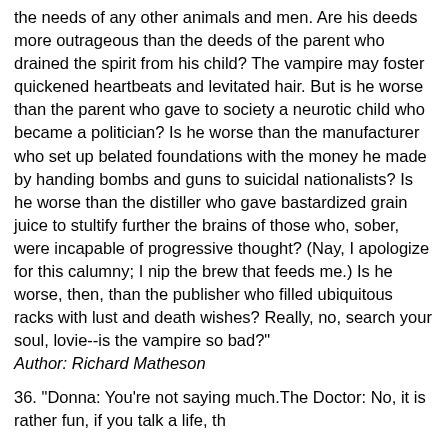the needs of any other animals and men. Are his deeds more outrageous than the deeds of the parent who drained the spirit from his child? The vampire may foster quickened heartbeats and levitated hair. But is he worse than the parent who gave to society a neurotic child who became a politician? Is he worse than the manufacturer who set up belated foundations with the money he made by handing bombs and guns to suicidal nationalists? Is he worse than the distiller who gave bastardized grain juice to stultify further the brains of those who, sober, were incapable of progressive thought? (Nay, I apologize for this calumny; I nip the brew that feeds me.) Is he worse, then, than the publisher who filled ubiquitous racks with lust and death wishes? Really, no, search your soul, lovie--is the vampire so bad?"
Author: Richard Matheson
36. "Donna: You're not saying much.The Doctor: No, it is rather fun, if you talk a life, th...